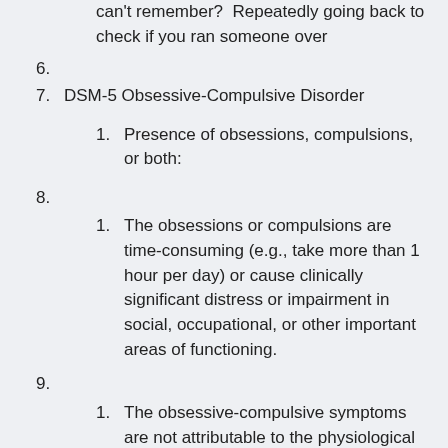(continuation) can't remember? Repeatedly going back to check if you ran someone over
6.
7. DSM-5 Obsessive-Compulsive Disorder
1. Presence of obsessions, compulsions, or both:
8.
1. The obsessions or compulsions are time-consuming (e.g., take more than 1 hour per day) or cause clinically significant distress or impairment in social, occupational, or other important areas of functioning.
9.
1. The obsessive-compulsive symptoms are not attributable to the physiological effects of a substance (e.g., a drug of abuse, a medication) or another medical condition.